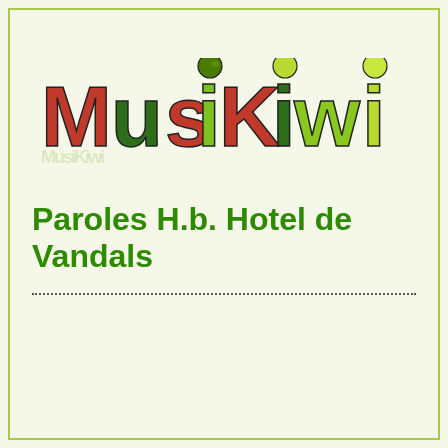[Figure (logo): MusiKiwi logo with colorful letters — red and green block letters with kiwi bird figure as the dot on the 'i']
Paroles H.b. Hotel de Vandals